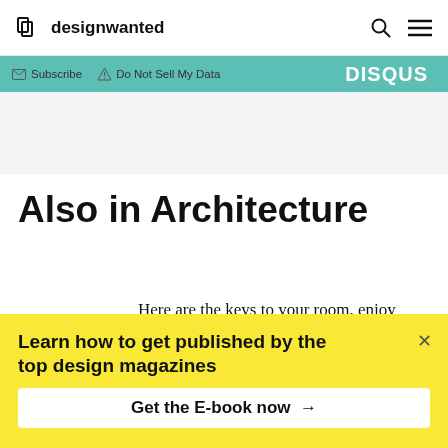designwanted
[Figure (screenshot): Disqus toolbar with Subscribe, Do Not Sell My Data, and DISQUS branding on teal background]
Also in Architecture
Here are the keys to your room, enjoy your stay at Nature’s five-star hotel
Learn how to get published by the top design magazines
Get the E-book now →